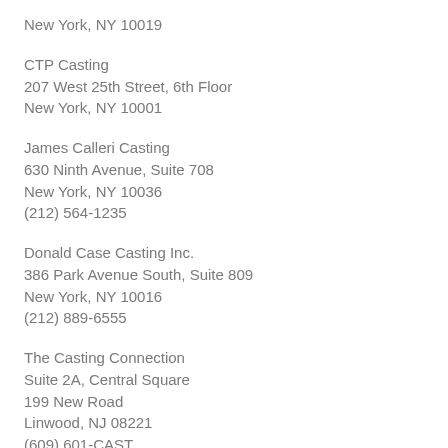New York, NY 10019
CTP Casting
207 West 25th Street, 6th Floor
New York, NY 10001
James Calleri Casting
630 Ninth Avenue, Suite 708
New York, NY 10036
(212) 564-1235
Donald Case Casting Inc.
386 Park Avenue South, Suite 809
New York, NY 10016
(212) 889-6555
The Casting Connection
Suite 2A, Central Square
199 New Road
Linwood, NJ 08221
(609) 601-CAST